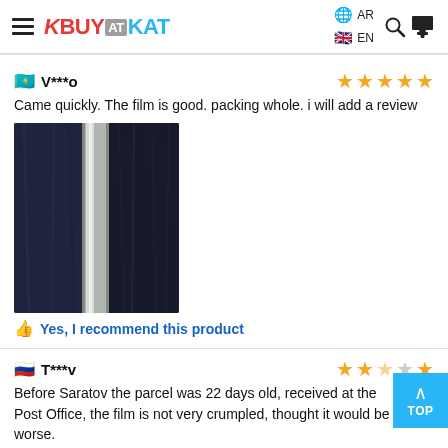KBUYATKAT — AR EN
V***o
Came quickly. The film is good. packing whole. i will add a review
[Figure (photo): Close-up photo of a dark navy fabric/material with a thin metallic/silver strip running vertically through the center]
Yes, I recommend this product
T***v
Before Saratov the parcel was 22 days old, received at the Post Office, the film is not very crumpled, thought it would be worse.